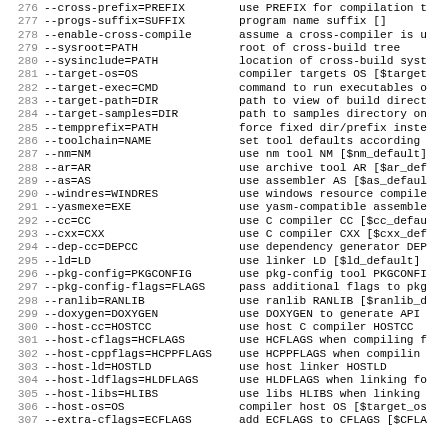276  --cross-prefix=PREFIX    use PREFIX for compilation t
277  --progs-suffix=SUFFIX    program name suffix []
278  --enable-cross-compile   assume a cross-compiler is u
279  --sysroot=PATH           root of cross-build tree
280  --sysinclude=PATH        location of cross-build syst
281  --target-os=OS           compiler targets OS [$target
282  --target-exec=CMD        command to run executables o
283  --target-path=DIR        path to view of build direct
284  --target-samples=DIR     path to samples directory on
285  --tempprefix=PATH        force fixed dir/prefix inste
286  --toolchain=NAME         set tool defaults according
287  --nm=NM                  use nm tool NM [$nm_default]
288  --ar=AR                  use archive tool AR [$ar_def
289  --as=AS                  use assembler AS [$as_defaul
290  --windres=WINDRES        use windows resource compile
291  --yasmexe=EXE            use yasm-compatible assemble
292  --cc=CC                  use C compiler CC [$cc_defau
293  --cxx=CXX                use C compiler CXX [$cxx_def
294  --dep-cc=DEPCC           use dependency generator DEP
295  --ld=LD                  use linker LD [$ld_default]
296  --pkg-config=PKGCONFIG   use pkg-config tool PKGCONFI
297  --pkg-config-flags=FLAGS pass additional flags to pkg
298  --ranlib=RANLIB          use ranlib RANLIB [$ranlib_d
299  --doxygen=DOXYGEN        use DOXYGEN to generate API
300  --host-cc=HOSTCC         use host C compiler HOSTCC
301  --host-cflags=HCFLAGS    use HCFLAGS when compiling f
302  --host-cppflags=HCPPFLAGS use HCPPFLAGS when compilin
303  --host-ld=HOSTLD         use host linker HOSTLD
304  --host-ldflags=HLDFLAGS  use HLDFLAGS when linking fo
305  --host-libs=HLIBS        use libs HLIBS when linking
306  --host-os=OS             compiler host OS [$target_os
307  --extra-cflags=ECFLAGS   add ECFLAGS to CFLAGS [$CFLA